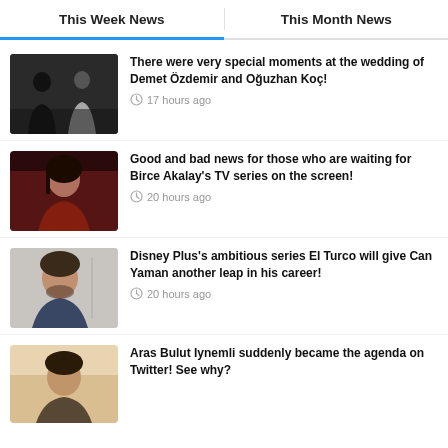This Week News | This Month News
There were very special moments at the wedding of Demet Özdemir and Oğuzhan Koç! — 17 hours ago
Good and bad news for those who are waiting for Birce Akalay's TV series on the screen! — 20 hours ago
Disney Plus's ambitious series El Turco will give Can Yaman another leap in his career! — 20 hours ago
Aras Bulut Iynemli suddenly became the agenda on Twitter! See why?